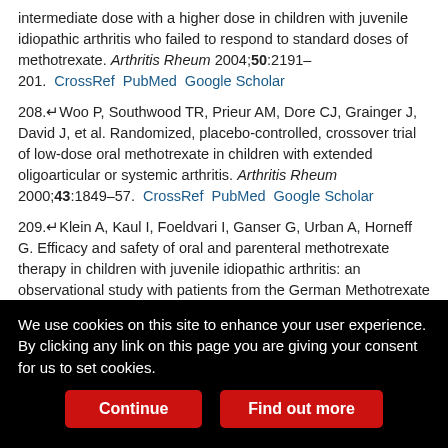intermediate dose with a higher dose in children with juvenile idiopathic arthritis who failed to respond to standard doses of methotrexate. Arthritis Rheum 2004;50:2191–201. CrossRef PubMed Google Scholar
208. Woo P, Southwood TR, Prieur AM, Dore CJ, Grainger J, David J, et al. Randomized, placebo-controlled, crossover trial of low-dose oral methotrexate in children with extended oligoarticular or systemic arthritis. Arthritis Rheum 2000;43:1849–57. CrossRef PubMed Google Scholar
209. Klein A, Kaul I, Foeldvari I, Ganser G, Urban A, Horneff G. Efficacy and safety of oral and parenteral methotrexate therapy in children with juvenile idiopathic arthritis: an observational study with patients from the German Methotrexate Registry. Arthritis Care Res 2012;64:1349–56. CrossRef Google Scholar
210. Céspedes-Cruz A, Gutiérrez-Suárez R, Pistorio A, Ravelli A, Loy A, Murray KJ, et al. Methotrexate improves the health-related quality of life of
We use cookies on this site to enhance your user experience. By clicking any link on this page you are giving your consent for us to set cookies.